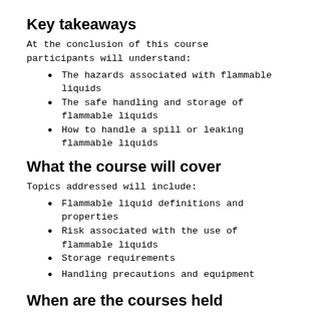Key takeaways
At the conclusion of this course participants will understand:
The hazards associated with flammable liquids
The safe handling and storage of flammable liquids
How to handle a spill or leaking flammable liquids
What the course will cover
Topics addressed will include:
Flammable liquid definitions and properties
Risk associated with the use of flammable liquids
Storage requirements
Handling precautions and equipment
When are the courses held